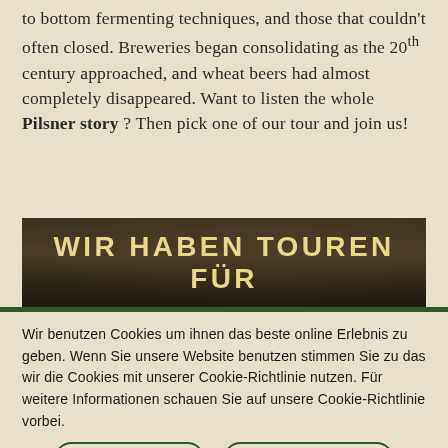to bottom fermenting techniques, and those that couldn't often closed. Breweries began consolidating as the 20th century approached, and wheat beers had almost completely disappeared. Want to listen the whole Pilsner story ? Then pick one of our tour and join us!
[Figure (photo): Dark background image of a brewery interior with large text overlay reading 'WIR HABEN TOUREN FÜR' in gold/yellow bold uppercase letters on a dark green-brown background.]
Wir benutzen Cookies um ihnen das beste online Erlebnis zu geben. Wenn Sie unsere Website benutzen stimmen Sie zu das wir die Cookies mit unserer Cookie-Richtlinie nutzen. Für weitere Informationen schauen Sie auf unsere Cookie-Richtlinie vorbei.
ZUSTIMMEN   WEITERLESEN